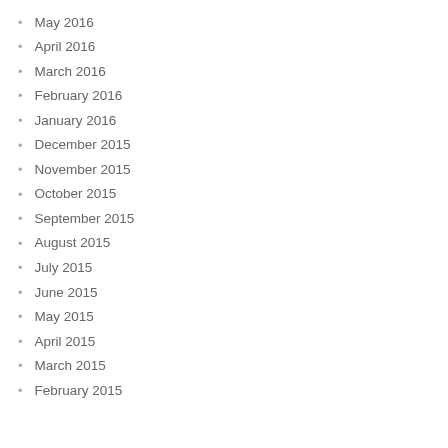May 2016
April 2016
March 2016
February 2016
January 2016
December 2015
November 2015
October 2015
September 2015
August 2015
July 2015
June 2015
May 2015
April 2015
March 2015
February 2015